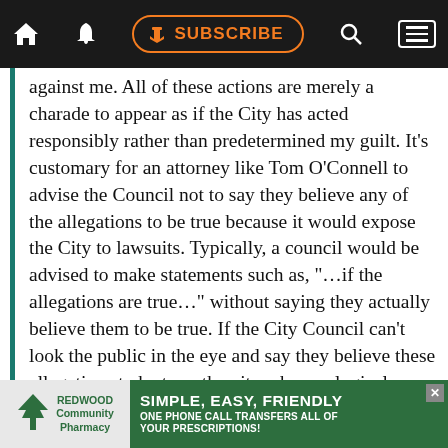SUBSCRIBE
against me. All of these actions are merely a charade to appear as if the City has acted responsibly rather than predetermined my guilt. It’s customary for an attorney like Tom O’Connell to advise the Council not to say they believe any of the allegations to be true because it would expose the City to lawsuits. Typically, a council would be advised to make statements such as, “…if the allegations are true…” without saying they actually believe them to be true. If the City Council can’t look the public in the eye and say they believe these allegations to be true, then it makes no logical sense for them to consider any form of limitations on my actions or behaviors. There is not one shred of evidence
[Figure (other): Advertisement for Redwood Community Pharmacy. Green background with pharmacy logo (tree). Text: SIMPLE, EASY, FRIENDLY ONE PHONE CALL TRANSFERS ALL OF YOUR PRESCRIPTIONS!]